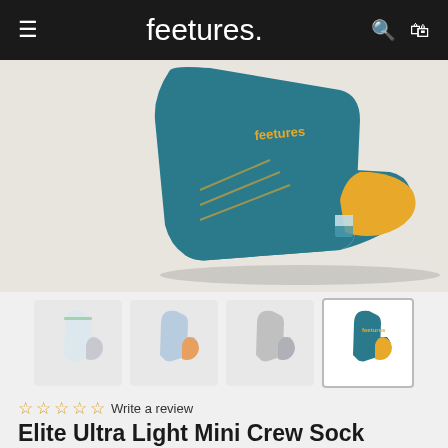feetures.
[Figure (photo): Close-up side view of a Feetures Elite Ultra Light Mini Crew Sock in teal and yellow colorway, worn on a foot against a light beige background]
[Figure (photo): Four thumbnail images of the sock in different colorways: white/light, light blue/orange, gray, and teal/yellow (currently selected)]
☆☆☆☆☆ Write a review
Elite Ultra Light Mini Crew Sock
Size Guide >
£15.00